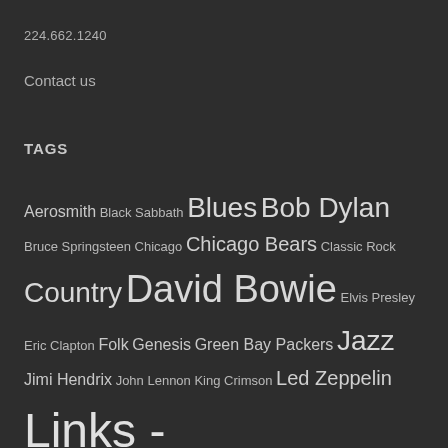224.662.1240
Contact us
TAGS
Aerosmith Black Sabbath Blues Bob Dylan Bruce Springsteen Chicago Chicago Bears Classic Rock Country David Bowie Elvis Presley Eric Clapton Folk Genesis Green Bay Packers Jazz Jimi Hendrix John Lennon King Crimson Led Zeppelin Links - Rock and Roll Music NFL Paul McCartney Pink Floyd Pop Queen R&B Rock Rockabilly Roxy Music Rush Song Of The Day by Eric Berman Soul The